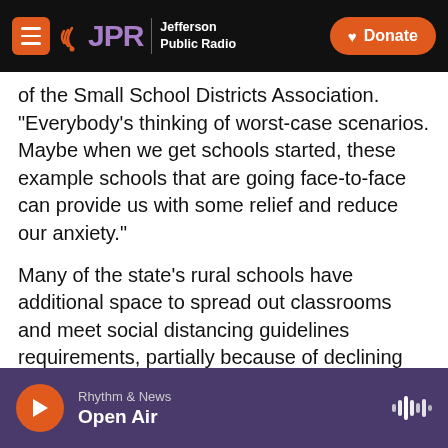JPR | Jefferson Public Radio — Donate
of the Small School Districts Association. “Everybody’s thinking of worst-case scenarios. Maybe when we get schools started, these example schools that are going face-to-face can provide us with some relief and reduce our anxiety.”
Many of the state’s rural schools have additional space to spread out classrooms and meet social distancing guidelines requirements, partially because of declining enrollments in remote communities, Taylor said.
As has been the case throughout the pandemic,
Rhythm & News
Open Air